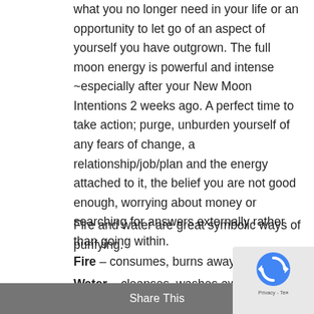what you no longer need in your life or an opportunity to let go of an aspect of yourself you have outgrown. The full moon energy is powerful and intense ~especially after your New Moon Intentions 2 weeks ago. A perfect time to take action; purge, unburden yourself of any fears of change, a relationship/job/plan and the energy attached to it, the belief you are not good enough, worrying about money or searching for answers externally rather than going within.
Fire and water are great symbolic ways of purifying.
Fire – consumes, burns away the old
Water – cleanses, washes away
A Full Moon Release Ritual
What you need: pen, paper, matches, candle, two
Share This